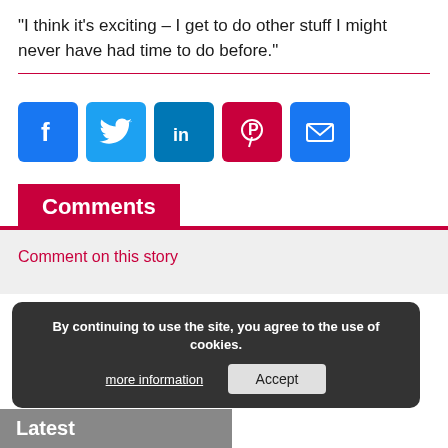“I think it’s exciting – I get to do other stuff I might never have had time to do before.”
[Figure (infographic): Row of social media share icons: Facebook (blue), Twitter (blue), LinkedIn (blue), Pinterest (red), Email (blue)]
Comments
Comment on this story
By continuing to use the site, you agree to the use of cookies. more information Accept
Latest